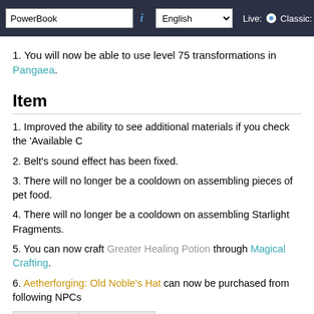PowerBook | English | Live: • Classic: ○
1. You will now be able to use level 75 transformations in Pangaea.
Item
1. Improved the ability to see additional materials if you check the 'Available C
2. Belt's sound effect has been fixed.
3. There will no longer be a cooldown on assembling pieces of pet food.
4. There will no longer be a cooldown on assembling Starlight Fragments.
5. You can now craft Greater Healing Potion through Magical Crafting.
6. Aetherforging: Old Noble's Hat can now be purchased from following NPCs
| Elyos | Asmodian |
| --- | --- |
| Orpheus | Nielden |